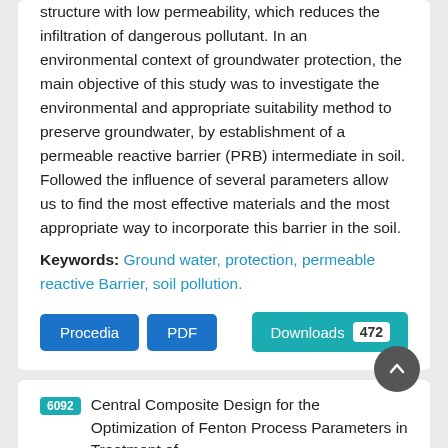structure with low permeability, which reduces the infiltration of dangerous pollutant. In an environmental context of groundwater protection, the main objective of this study was to investigate the environmental and appropriate suitability method to preserve groundwater, by establishment of a permeable reactive barrier (PRB) intermediate in soil. Followed the influence of several parameters allow us to find the most effective materials and the most appropriate way to incorporate this barrier in the soil.
Keywords: Ground water, protection, permeable reactive Barrier, soil pollution.
Procedia  PDF  Downloads 472
6092 Central Composite Design for the Optimization of Fenton Process Parameters in Treatment of